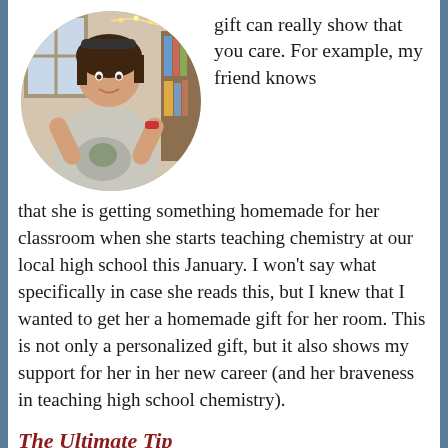[Figure (photo): Circular cropped photo of a young woman wearing a graphic t-shirt with holiday lights in the background]
gift can really show that you care. For example, my friend knows that she is getting something homemade for her classroom when she starts teaching chemistry at our local high school this January. I won't say what specifically in case she reads this, but I knew that I wanted to get her a homemade gift for her room. This is not only a personalized gift, but it also shows my support for her in her new career (and her braveness in teaching high school chemistry).
The Ultimate Tip
When in doubt, go with Gift Cards. This can be the easiest way to customize a gift to someone. Do they